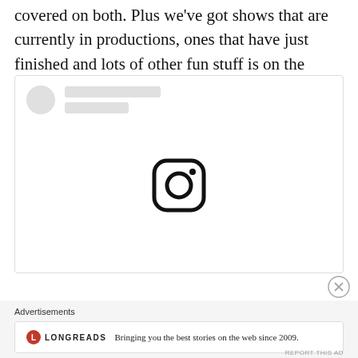covered on both. Plus we've got shows that are currently in productions, ones that have just finished and lots of other fun stuff is on the Instagram highlights menu.
[Figure (screenshot): Instagram embed placeholder showing a loading skeleton with avatar circle and two gray lines, plus the Instagram camera icon centered below]
Advertisements
[Figure (logo): Longreads advertisement card showing red circle L logo, LONGREADS text, and tagline 'Bringing you the best stories on the web since 2009.']